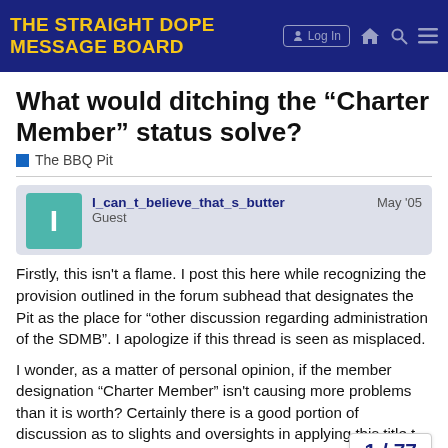THE STRAIGHT DOPE MESSAGE BOARD
What would ditching the “Charter Member” status solve?
The BBQ Pit
I_can_t_believe_that_s_butter
Guest
May '05
Firstly, this isn't a flame. I post this here while recognizing the provision outlined in the forum subhead that designates the Pit as the place for “other discussion regarding administration of the SDMB”. I apologize if this thread is seen as misplaced.
I wonder, as a matter of personal opinion, if the member designation “Charter Member” isn't causing more problems than it is worth? Certainly there is a good portion of discussion as to slights and oversights in applying this title to the oversight of someone or of mere circumstance, whic
1 / 77